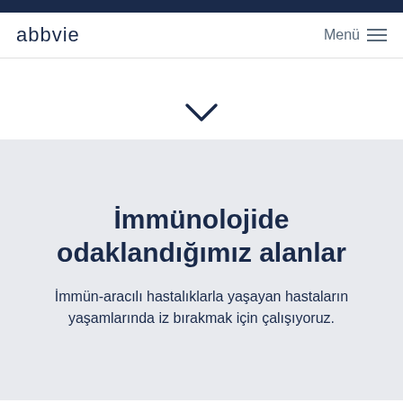abbvie
[Figure (other): Chevron/down arrow navigation indicator]
İmmünolojide odaklandığımız alanlar
İmmün-aracılı hastalıklarla yaşayan hastaların yaşamlarında iz bırakmak için çalışıyoruz.